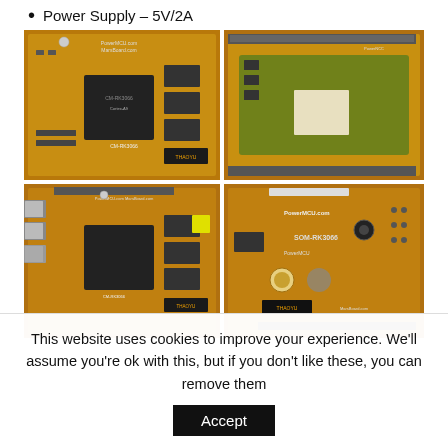Power Supply – 5V/2A
[Figure (photo): Four views of RK3066 System-on-Module (SoM) circuit boards showing front and back of CM-RK3066 and SOM-RK3066, manufactured by Haoyu Electronics (MarsBoard/PowerMCU). Orange PCBs with chips, connectors, and surface-mount components visible.]
This website uses cookies to improve your experience. We'll assume you're ok with this, but if you don't like these, you can remove them  Accept